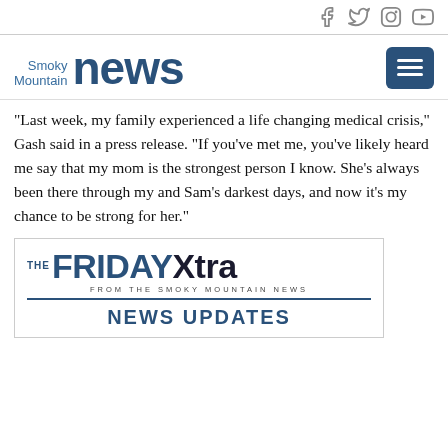[Social media icons: Facebook, Twitter, Instagram, YouTube]
[Figure (logo): Smoky Mountain News logo with menu button]
“Last week, my family experienced a life changing medical crisis,” Gash said in a press release. “If you’ve met me, you’ve likely heard me say that my mom is the strongest person I know. She’s always been there through my and Sam’s darkest days, and now it’s my chance to be strong for her.”
[Figure (logo): The Friday Xtra - From The Smoky Mountain News - News Updates advertisement box]